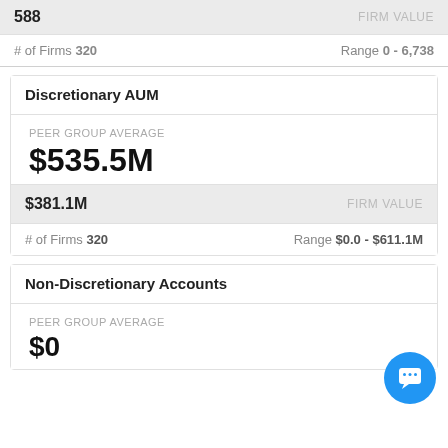588   FIRM VALUE
# of Firms 320   Range 0 - 6,738
Discretionary AUM
PEER GROUP AVERAGE
$535.5M
$381.1M   FIRM VALUE
# of Firms 320   Range $0.0 - $611.1M
Non-Discretionary Accounts
PEER GROUP AVERAGE